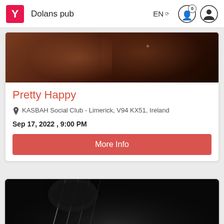Dolans pub | EN | (navigation icons)
[Figure (photo): Cropped photo of person's arms/torso with a star tattoo visible, warm dark tones]
Pretty Happy
KASBAH Social Club - Limerick, V94 KX51, Ireland
Sep 17, 2022 , 9:00 PM
More Info
[Figure (photo): Black and white photo of a man with a bass guitar, partial view]